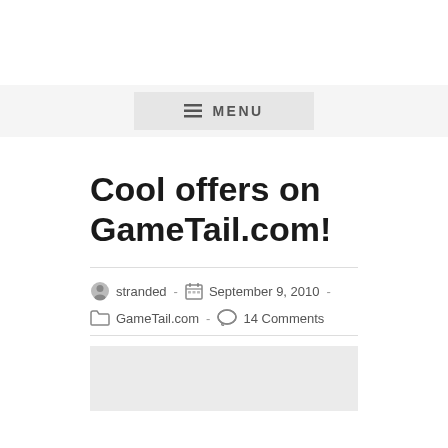☰ MENU
Cool offers on GameTail.com!
stranded - September 9, 2010 - GameTail.com - 14 Comments
[Figure (other): Gray placeholder image box at bottom of page]